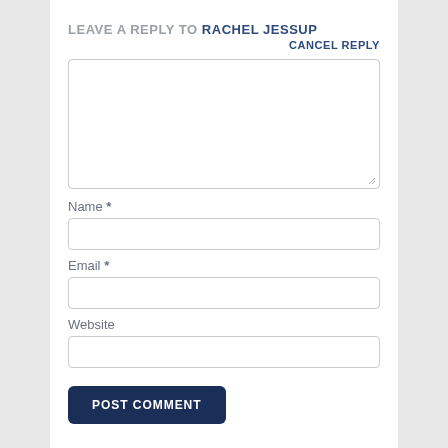LEAVE A REPLY TO RACHEL JESSUP
CANCEL REPLY
[Figure (other): Large empty textarea input field for comment text]
Name *
[Figure (other): Name input text field]
Email *
[Figure (other): Email input text field]
Website
[Figure (other): Website input text field]
POST COMMENT